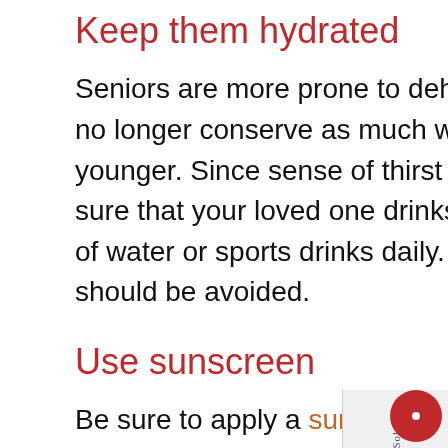Keep them hydrated
Seniors are more prone to dehydration because their bodies can no longer conserve as much water as they could when they were younger. Since sense of thirst also diminishes with age, make sure that your loved one drinks at least 8 glasses (about 2 liters) of water or sports drinks daily. Alcohol and caffeinated beverages should be avoided.
Use sunscreen
Be sure to apply a sunscreen of SPF 30 or higher to your senior's skin before venturing out in the sun. When engaging in water activities, reapply the sunscreen often. Another safety tip is to avoid sunlight during peak hours by planning outdoor